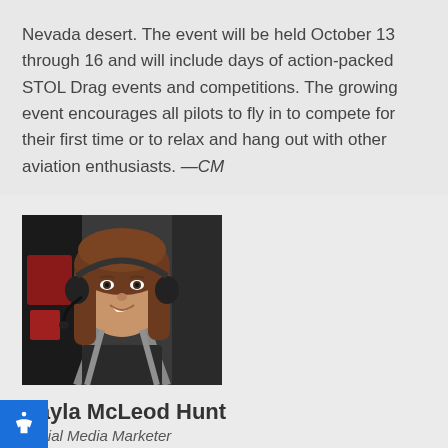Nevada desert. The event will be held October 13 through 16 and will include days of action-packed STOL Drag events and competitions. The growing event encourages all pilots to fly in to compete for their first time or to relax and hang out with other aviation enthusiasts. —CM
[Figure (photo): Portrait photo of a young woman wearing a headset, seated in a small aircraft cockpit, smiling at the camera. She has brown hair and is wearing a dark shirt.]
Cayla McLeod Hunt
Social Media Marketer